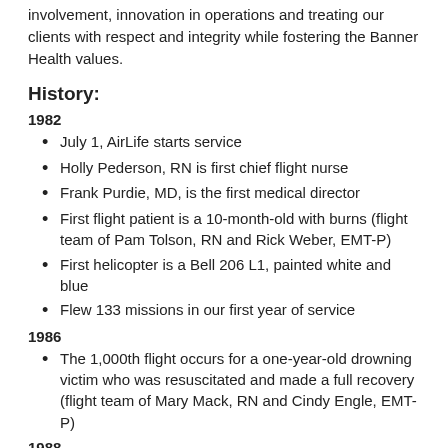involvement, innovation in operations and treating our clients with respect and integrity while fostering the Banner Health values.
History:
1982
July 1, AirLife starts service
Holly Pederson, RN is first chief flight nurse
Frank Purdie, MD, is the first medical director
First flight patient is a 10-month-old with burns (flight team of Pam Tolson, RN and Rick Weber, EMT-P)
First helicopter is a Bell 206 L1, painted white and blue
Flew 133 missions in our first year of service
1986
The 1,000th flight occurs for a one-year-old drowning victim who was resuscitated and made a full recovery (flight team of Mary Mack, RN and Cindy Engle, EMT-P)
1988
AirLife performs 303 flights
1989